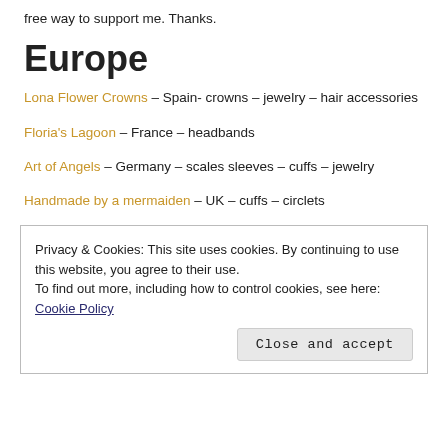free way to support me. Thanks.
Europe
Lona Flower Crowns – Spain- crowns – jewelry – hair accessories
Floria's Lagoon – France – headbands
Art of Angels – Germany – scales sleeves – cuffs – jewelry
Handmade by a mermaiden – UK – cuffs – circlets
Privacy & Cookies: This site uses cookies. By continuing to use this website, you agree to their use.
To find out more, including how to control cookies, see here:
Cookie Policy
Close and accept